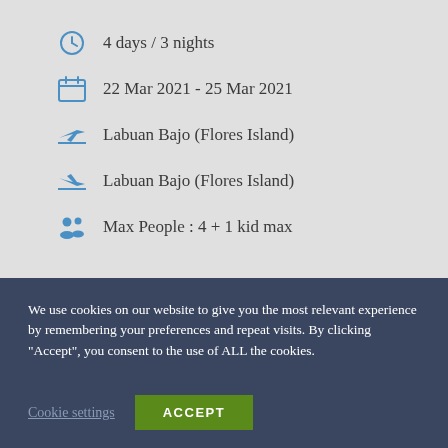4 days / 3 nights
22 Mar 2021 - 25 Mar 2021
Labuan Bajo (Flores Island)
Labuan Bajo (Flores Island)
Max People : 4 + 1 kid max
We use cookies on our website to give you the most relevant experience by remembering your preferences and repeat visits. By clicking “Accept”, you consent to the use of ALL the cookies.
Cookie settings
ACCEPT